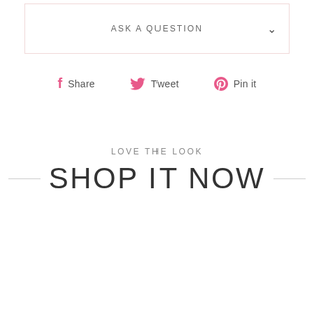ASK A QUESTION
Share  Tweet  Pin it
LOVE THE LOOK
SHOP IT NOW